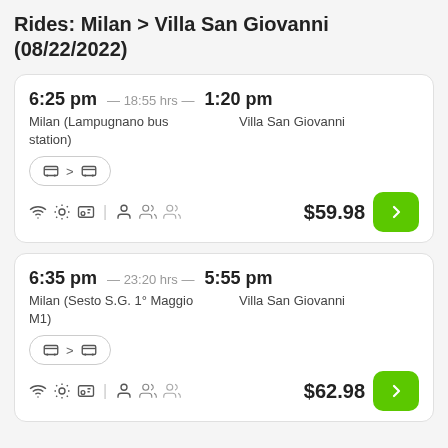Rides: Milan > Villa San Giovanni (08/22/2022)
6:25 pm — 18:55 hrs — 1:20 pm | Milan (Lampugnano bus station) | Villa San Giovanni | $59.98
6:35 pm — 23:20 hrs — 5:55 pm | Milan (Sesto S.G. 1° Maggio M1) | Villa San Giovanni | $62.98